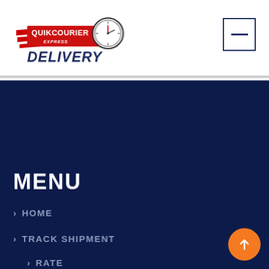[Figure (logo): QuikCourier Express Delivery logo with clock icon and speed lines]
[Figure (other): Hamburger menu button — square border with a horizontal dash]
MENU
> HOME
> TRACK SHIPMENT
> RATE
> SERVICES
> ABOUT US
> CONTACT US
[Figure (other): Orange circular back-to-top arrow button]